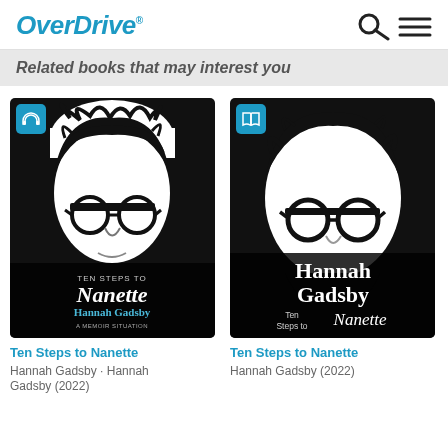OverDrive
Related books that may interest you
[Figure (illustration): Book cover for Ten Steps to Nanette audiobook by Hannah Gadsby - black and white portrait of person with glasses and messy hair, with book title and author name overlaid]
[Figure (illustration): Book cover for Ten Steps to Nanette ebook by Hannah Gadsby - black and white portrait of person with glasses and messy hair, with author name Hannah Gadsby and book title overlaid]
Ten Steps to Nanette
Hannah Gadsby · Hannah Gadsby (2022)
Ten Steps to Nanette
Hannah Gadsby (2022)